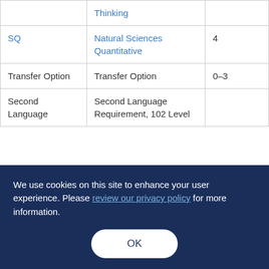|  | Thinking |  |
| SQ | Natural Sciences Quantitative | 4 |
| Transfer Option | Transfer Option | 0–3 |
| Second Language | Second Language Requirement, 102 Level |  |
We use cookies on this site to enhance your user experience. Please review our privacy policy for more information.